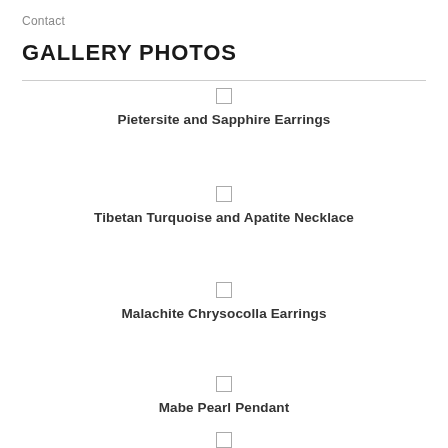Contact
GALLERY PHOTOS
Pietersite and Sapphire Earrings
Tibetan Turquoise and Apatite Necklace
Malachite Chrysocolla Earrings
Mabe Pearl Pendant